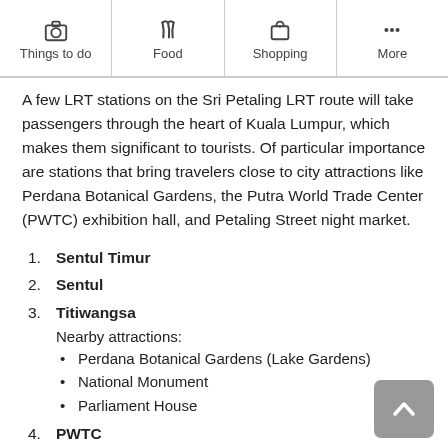Things to do | Food | Shopping | More
A few LRT stations on the Sri Petaling LRT route will take passengers through the heart of Kuala Lumpur, which makes them significant to tourists. Of particular importance are stations that bring travelers close to city attractions like Perdana Botanical Gardens, the Putra World Trade Center (PWTC) exhibition hall, and Petaling Street night market.
1. Sentul Timur
2. Sentul
3. Titiwangsa
Nearby attractions:
• Perdana Botanical Gardens (Lake Gardens)
• National Monument
• Parliament House
4. PWTC
Nearby attractions: